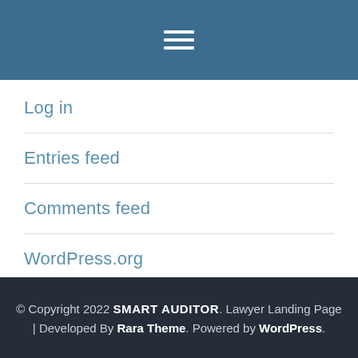[Figure (other): Blue header bar with hamburger menu icon (three white horizontal lines)]
Log in
Entries feed
Comments feed
WordPress.org
© Copyright 2022 SMART AUDITOR. Lawyer Landing Page | Developed By Rara Theme. Powered by WordPress.